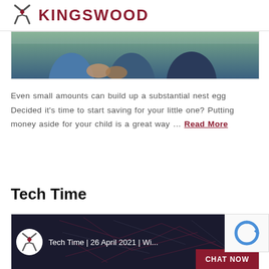KINGSWOOD
[Figure (photo): Photo of people (partial view showing torsos/arms), cropped at top.]
Even small amounts can build up a substantial nest egg Decided it’s time to start saving for your little one? Putting money aside for your child is a great way … Read More
Tech Time
[Figure (screenshot): Video thumbnail showing Kingswood logo and text: Tech Time | 26 April 2021 | Wi... with a dark abstract network background. A CHAT NOW button appears in the bottom right corner.]